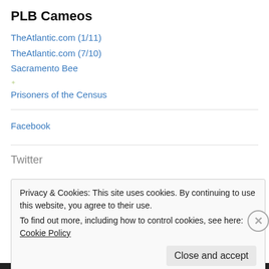PLB Cameos
TheAtlantic.com (1/11)
TheAtlantic.com (7/10)
Sacramento Bee
Prisoners of the Census
Facebook
Twitter
Privacy & Cookies: This site uses cookies. By continuing to use this website, you agree to their use.
To find out more, including how to control cookies, see here: Cookie Policy
Close and accept